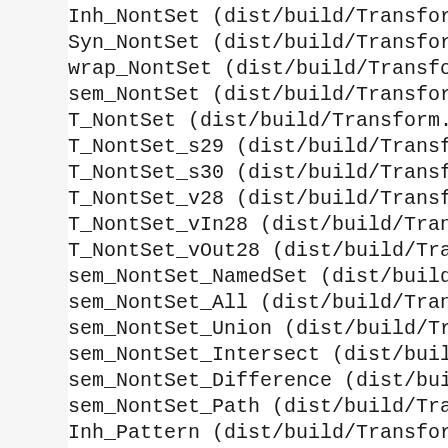Inh_NontSet (dist/build/Transform
Syn_NontSet (dist/build/Transform
wrap_NontSet (dist/build/Transfor
sem_NontSet (dist/build/Transform
T_NontSet (dist/build/Transform.h
T_NontSet_s29 (dist/build/Transfo
T_NontSet_s30 (dist/build/Transfo
T_NontSet_v28 (dist/build/Transfo
T_NontSet_vIn28 (dist/build/Trans
T_NontSet_vOut28 (dist/build/Tran
sem_NontSet_NamedSet (dist/build/
sem_NontSet_All (dist/build/Trans
sem_NontSet_Union (dist/build/Tra
sem_NontSet_Intersect (dist/build
sem_NontSet_Difference (dist/buil
sem_NontSet_Path (dist/build/Tran
Inh_Pattern (dist/build/Transform
Syn_Pattern (dist/build/Transform
wrap_Pattern (dist/build/Transfor